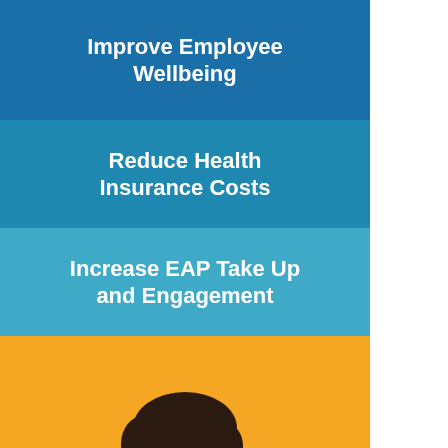Improve Employee Wellbeing
Reduce Health Insurance Costs
Increase EAP Take Up and Engagement
[Figure (illustration): Cartoon illustration of a smiling person with dark hair wearing a red shirt, sitting behind a white laptop with a smiley face on the screen, on an orange/yellow background.]
Employee Health and Wellness Management Solutions